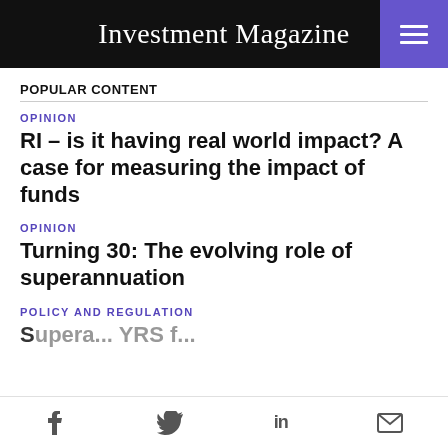Investment Magazine
POPULAR CONTENT
OPINION
RI – is it having real world impact? A case for measuring the impact of funds
OPINION
Turning 30: The evolving role of superannuation
POLICY AND REGULATION
f  Twitter  in  Email